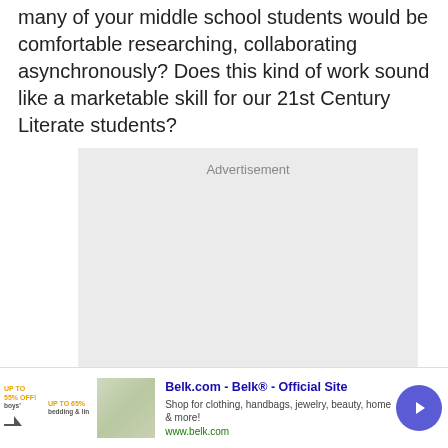many of your middle school students would be comfortable researching, collaborating asynchronously? Does this kind of work sound like a marketable skill for our 21st Century Literate students?
[Figure (other): Advertisement placeholder box with grey background]
[Figure (other): Bottom banner advertisement for Belk.com - Belk Official Site. Shows thumbnail image, title, description 'Shop for clothing, handbags, jewelry, beauty, home & more!', URL www.belk.com, and a purple circular arrow button.]